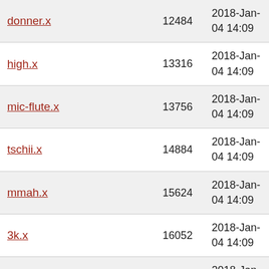| Name | Size | Date |
| --- | --- | --- |
| donner.x | 12484 | 2018-Jan-04 14:09 |
| high.x | 13316 | 2018-Jan-04 14:09 |
| mic-flute.x | 13756 | 2018-Jan-04 14:09 |
| tschii.x | 14884 | 2018-Jan-04 14:09 |
| mmah.x | 15624 | 2018-Jan-04 14:09 |
| 3k.x | 16052 | 2018-Jan-04 14:09 |
| r-zong.x | 16376 | 2018-Jan-04 14:09 |
| aged5.x | 16836 | 2018-Jan-04 14:09 |
| douum.x | 18148 | 2018-Jan-04 14:09 |
| mic-bass.x | 19800 | 2018-Jan-04 14:09 |
| wind | 19988 | 2018-Jan-04 14:09 |